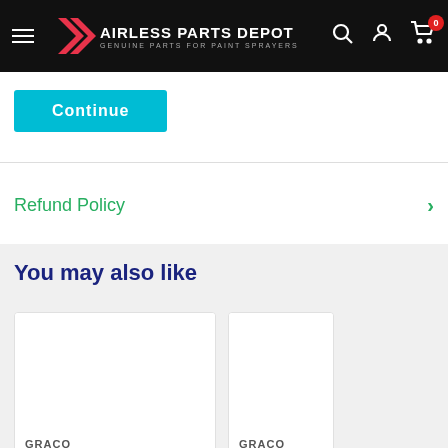AIRLESS PARTS DEPOT — GENUINE PARTS FOR PAINT SPRAYERS
Continue
Refund Policy
You may also like
GRACO
116074 Thrust Washer
GRACO
116073 Thrust Was...